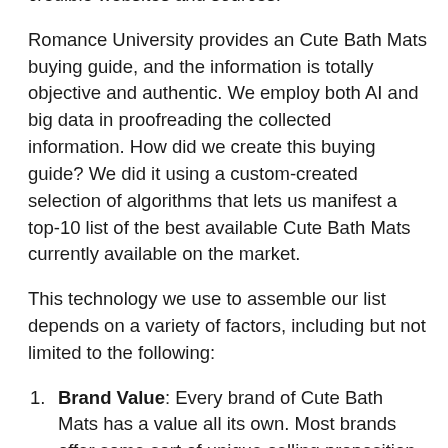credible websites and sources.
Romance University provides an Cute Bath Mats buying guide, and the information is totally objective and authentic. We employ both AI and big data in proofreading the collected information. How did we create this buying guide? We did it using a custom-created selection of algorithms that lets us manifest a top-10 list of the best available Cute Bath Mats currently available on the market.
This technology we use to assemble our list depends on a variety of factors, including but not limited to the following:
Brand Value: Every brand of Cute Bath Mats has a value all its own. Most brands offer some sort of unique selling proposition that's supposed to bring something different to the table than their competitors.